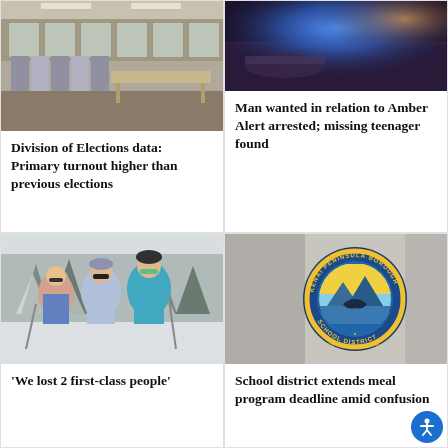[Figure (photo): Empty voting booths in a room with curtains and tables]
Division of Elections data: Primary turnout higher than previous elections
[Figure (photo): Police car with blue flashing lights at night]
Man wanted in relation to Amber Alert arrested; missing teenager found
[Figure (photo): Three people in winter ski gear posing in snowy forest]
'We lost 2 first-class people'
[Figure (logo): Kenai Peninsula Borough School District circular logo]
School district extends meal program deadline amid confusion